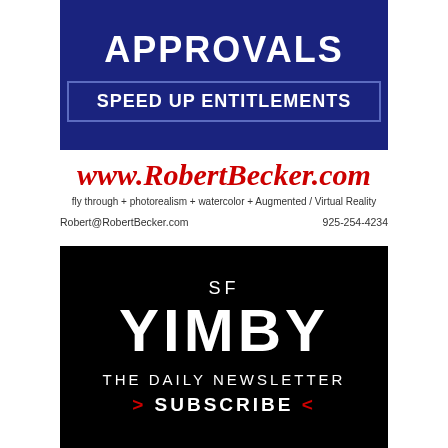[Figure (infographic): Dark navy blue banner with 'APPROVALS' in large white bold text and a bordered box reading 'SPEED UP ENTITLEMENTS' in white text]
www.RobertBecker.com
fly through + photorealism + watercolor + Augmented / Virtual Reality
Robert@RobertBecker.com    925-254-4234
[Figure (infographic): Black banner with 'SF' above 'YIMBY' in large white bold text, 'THE DAILY NEWSLETTER' and '>SUBSCRIBE<' with red arrows]